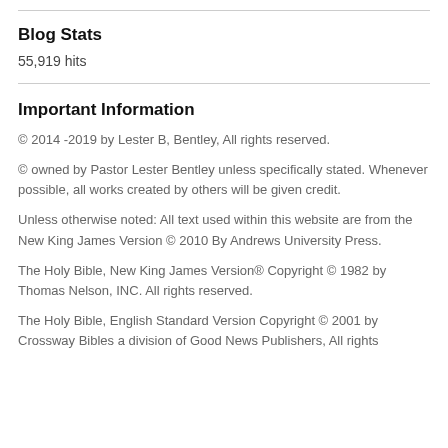Blog Stats
55,919 hits
Important Information
© 2014 -2019 by Lester B, Bentley, All rights reserved.
© owned by Pastor Lester Bentley unless specifically stated. Whenever possible, all works created by others will be given credit.
Unless otherwise noted: All text used within this website are from the New King James Version © 2010 By Andrews University Press.
The Holy Bible, New King James Version® Copyright © 1982 by Thomas Nelson, INC. All rights reserved.
The Holy Bible, English Standard Version Copyright © 2001 by Crossway Bibles a division of Good News Publishers, All rights